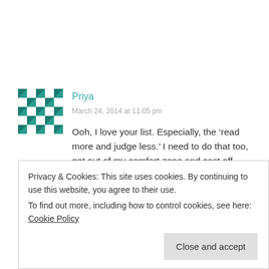[Figure (illustration): Green and white pixel/quilt pattern avatar for user Priya]
Priya
March 24, 2014 at 11:05 pm
Ooh, I love your list. Especially, the ‘read more and judge less.’ I need to do that too, get out of my comfort zone and cast off stereotypes! The ultimate reading space sounds amazing too, I’d like mine to have an endless supply of coffee. 🙂
Reply
Privacy & Cookies: This site uses cookies. By continuing to use this website, you agree to their use.
To find out more, including how to control cookies, see here: Cookie Policy
Close and accept